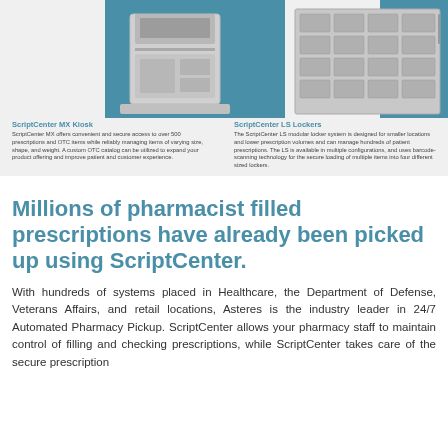[Figure (photo): Two product photos side by side on a light gray background with teal accent panels: ScriptCenter MX Kiosk on the left and ScriptCenter LS Lockers on the right]
ScriptCenter MX Kiosk
ScriptCenter MX offers convenient and secure access to over 500 prescriptions and OTC items while reliably managing items of varying size, shape, and weight. A custom OTC catalog can be utilized to expand your product offering and improve patient and customer experience.
ScriptCenter LS Lockers
The ScriptCenter LS modular locker system is designed for smaller locations and lower prescription volumes and can manage hundreds of patient prescriptions. The LS is available in multiple configurations, and uses barcode-scanning technology for the secure loading of multiple items into four different sized lockers.
Millions of pharmacist filled prescriptions have already been picked up using ScriptCenter.
With hundreds of systems placed in Healthcare, the Department of Defense, Veterans Affairs, and retail locations, Asteres is the industry leader in 24/7 Automated Pharmacy Pickup. ScriptCenter allows your pharmacy staff to maintain control of filling and checking prescriptions, while ScriptCenter takes care of the secure prescription